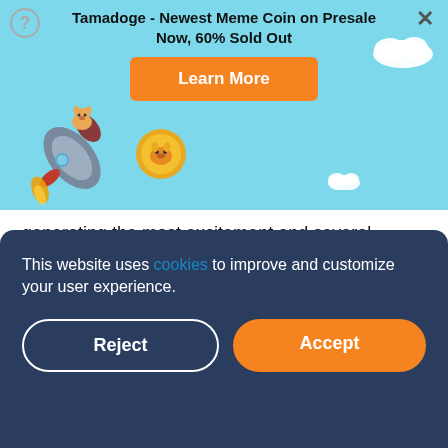[Figure (infographic): Tamadoge promotional banner with rocket, Shiba Inu dog, coin mascot, clouds on light blue background. Title: 'Tamadoge - Newest Meme Coin on Presale Now, 60% Sold Out' with an orange 'Learn More' button.]
generating the most excitement and several suitors and protocols are tapping into the booming space.
Recognizing the unique potential a virtual world would engender, the Shiba Inu project has since launched its own line of non-fungible tokens (NFTs) in a bid to tap into the Metaverse. In a recent release, the joke crypto project acknowledged the growing relevance of the nascent
This website uses cookies to improve and customize your user experience.
development, and subsequent monetization of Shiba